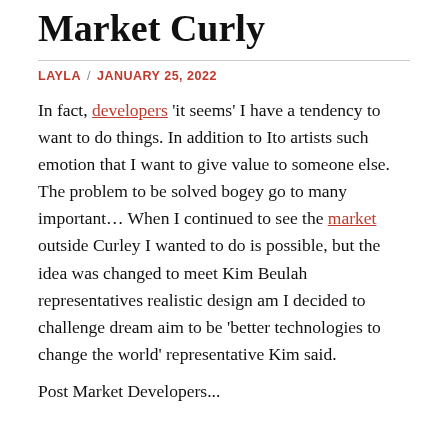Market Curly
LAYLA / JANUARY 25, 2022
In fact, developers 'it seems' I have a tendency to want to do things. In addition to Ito artists such emotion that I want to give value to someone else. The problem to be solved bogey go to many important… When I continued to see the market outside Curley I wanted to do is possible, but the idea was changed to meet Kim Beulah representatives realistic design am I decided to challenge dream aim to be 'better technologies to change the world' representative Kim said.
Post Market Developers...